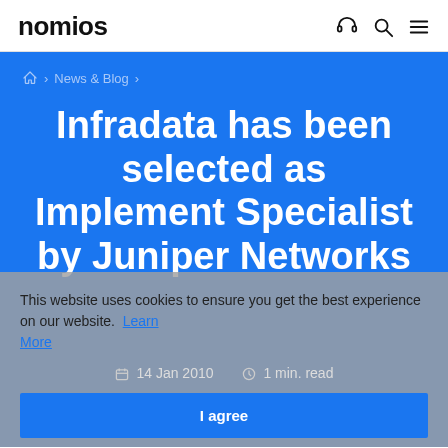nomios
News & Blog
Infradata has been selected as Implement Specialist by Juniper Networks
This website uses cookies to ensure you get the best experience on our website. Learn More
14 Jan 2010   1 min. read
I agree